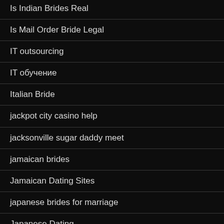Is Indian Brides Real
Is Mail Order Bride Legal
IT outsourcing
IT обучение
Italian Bride
jackpot city casino help
jacksonville sugar daddy meet
jamaican brides
Jamaican Dating Sites
japanese brides for marriage
Japanese Dating
Japanese Mail Order Brides
japanese singles